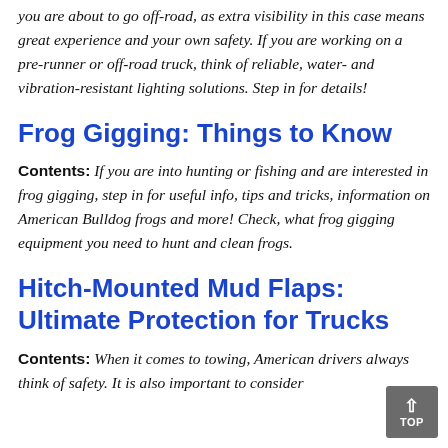you are about to go off-road, as extra visibility in this case means great experience and your own safety. If you are working on a pre-runner or off-road truck, think of reliable, water- and vibration-resistant lighting solutions. Step in for details!
Frog Gigging: Things to Know
Contents: If you are into hunting or fishing and are interested in frog gigging, step in for useful info, tips and tricks, information on American Bulldog frogs and more! Check, what frog gigging equipment you need to hunt and clean frogs.
Hitch-Mounted Mud Flaps: Ultimate Protection for Trucks
Contents: When it comes to towing, American drivers always think of safety. It is also important to consider